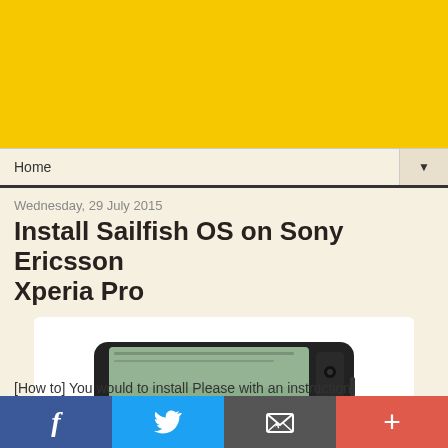[Figure (other): Yellow website header banner]
Home ▼
Wednesday, 29 July 2015
Install Sailfish OS on Sony Ericsson Xperia Pro
[Figure (photo): Sony Ericsson Xperia Pro smartphone with slide-out QWERTY keyboard, shown at an angle on white background]
[How to] You would to install Please with an instruction